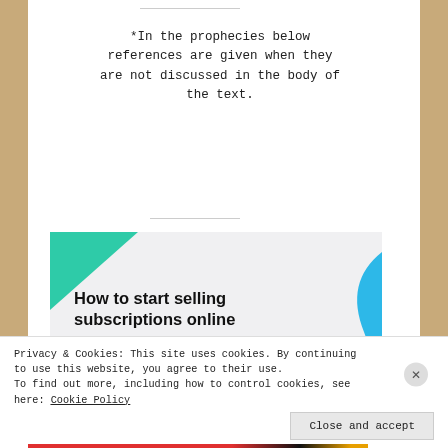*In the prophecies below references are given when they are not discussed in the body of the text.
[Figure (infographic): Advertisement banner with green triangle shape top-left, blue curved shape top-right, text 'How to start selling subscriptions online', and a purple 'Start a new store' button.]
Privacy & Cookies: This site uses cookies. By continuing to use this website, you agree to their use. To find out more, including how to control cookies, see here: Cookie Policy
Close and accept